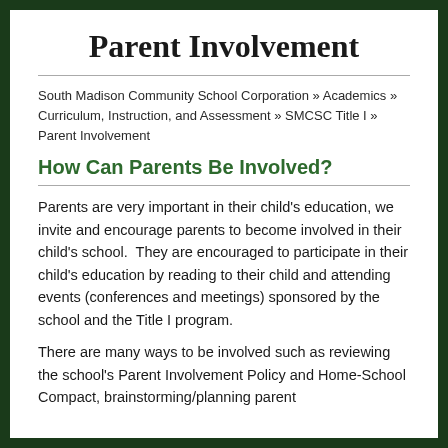Parent Involvement
South Madison Community School Corporation » Academics » Curriculum, Instruction, and Assessment » SMCSC Title I » Parent Involvement
How Can Parents Be Involved?
Parents are very important in their child's education, we invite and encourage parents to become involved in their child's school.  They are encouraged to participate in their child's education by reading to their child and attending events (conferences and meetings) sponsored by the school and the Title I program.
There are many ways to be involved such as reviewing the school's Parent Involvement Policy and Home-School Compact, brainstorming/planning parent